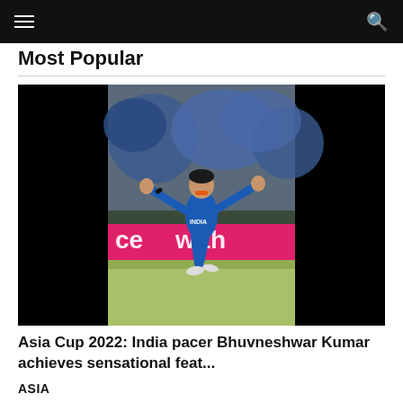☰  🔍
Most Popular
[Figure (photo): India cricket pacer Bhuvneshwar Kumar celebrating a wicket on a cricket ground, wearing blue India jersey, arms spread wide, with a pink advertising hoarding reading 'with' in the background and spectators in blue in the stands.]
Asia Cup 2022: India pacer Bhuvneshwar Kumar achieves sensational feat...
ASIA